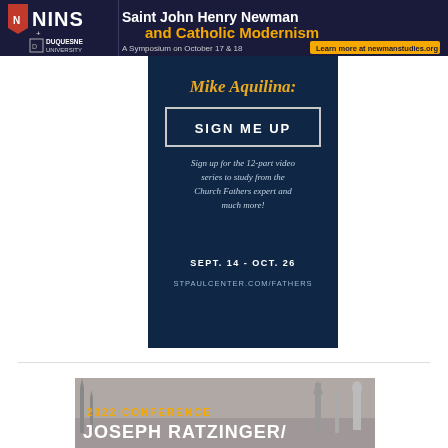[Figure (infographic): NINS + Duquesne University banner: Saint John Henry Newman and Catholic Modernism symposium, October 17 & 18, with link to newmanstudies.org]
[Figure (infographic): Dark navy card with italic golden title (partially cropped, likely 'Mike Aquilina'), SIGN ME UP button, text about 12-part video series to study from Church Fathers expert, dates SEPT. 14 - OCT. 26, and URL STPAULCENTER.COM/FATHERS]
[Figure (infographic): 2022 Conference Joseph Ratzinger/ banner with misty cityscape background featuring church spires and a statue]